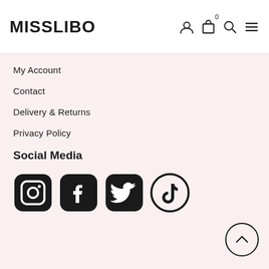MISSLIBO
My Account
Contact
Delivery & Returns
Privacy Policy
Social Media
[Figure (logo): Social media icons: Instagram, Facebook, Twitter, TikTok]